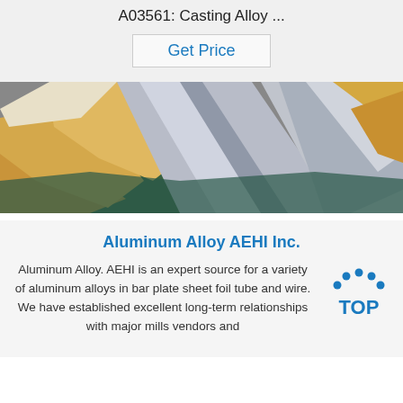A03561: Casting Alloy ...
Get Price
[Figure (photo): Stacked aluminum alloy sheets/plates wrapped in brown paper, shown in a warehouse or production setting.]
Aluminum Alloy AEHI Inc.
Aluminum Alloy. AEHI is an expert source for a variety of aluminum alloys in bar plate sheet foil tube and wire. We have established excellent long-term relationships with major mills vendors and